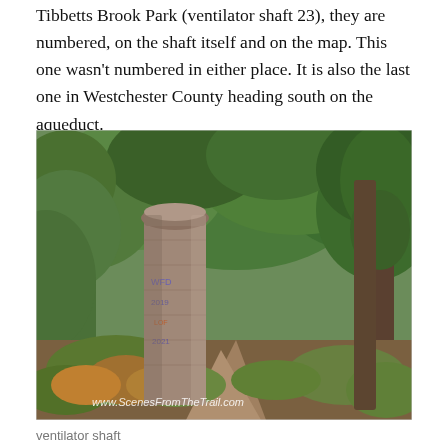Tibbetts Brook Park (ventilator shaft 23), they are numbered, on the shaft itself and on the map. This one wasn't numbered in either place. It is also the last one in Westchester County heading south on the aqueduct.
[Figure (photo): A tall cylindrical stone ventilator shaft with graffiti on it, standing amid dense green trees and foliage along a dirt trail. Watermark at bottom-left reads www.ScenesFromTheTrail.com]
ventilator shaft